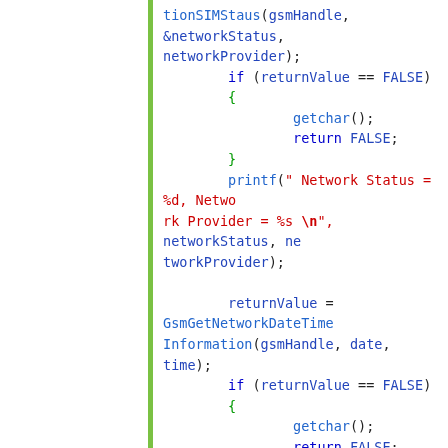[Figure (screenshot): Code editor screenshot showing C code with syntax highlighting. Contains function calls: tionSIMStaus, printf with network status, GsmGetNetworkDateTimeInformation, SendATCommand with AT+CMGF=1 string. Keywords in blue, string literals in red, function calls in blue, braces in green.]